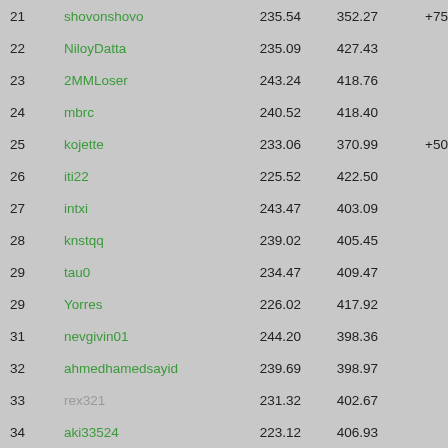| Rank | Name | Col1 | Col2 | Bonus | Total |
| --- | --- | --- | --- | --- | --- |
| 21 | shovonshovo | 235.54 | 352.27 | +75 | 662.8 |
| 22 | NiloyDatta | 235.09 | 427.43 |  | 662.5 |
| 23 | 2MMLoser | 243.24 | 418.76 |  | 662.0 |
| 24 | mbrc | 240.52 | 418.40 |  | 658.9 |
| 25 | kojette | 233.06 | 370.99 | +50 | 654.0 |
| 26 | iti22 | 225.52 | 422.50 |  | 648.0 |
| 27 | intxi | 243.47 | 403.09 |  | 646.5 |
| 28 | knstqq | 239.02 | 405.45 |  | 644.4 |
| 29 | tau0 | 234.47 | 409.47 |  | 643.9 |
| 29 | Yorres | 226.02 | 417.92 |  | 643.9 |
| 31 | nevgivin01 | 244.20 | 398.36 |  | 642.5 |
| 32 | ahmedhamedsayid | 239.69 | 398.97 |  | 638.6 |
| 33 | rex321 | 231.32 | 402.67 |  | 633.9 |
| 34 | aki33524 | 223.12 | 406.93 |  | 630.0 |